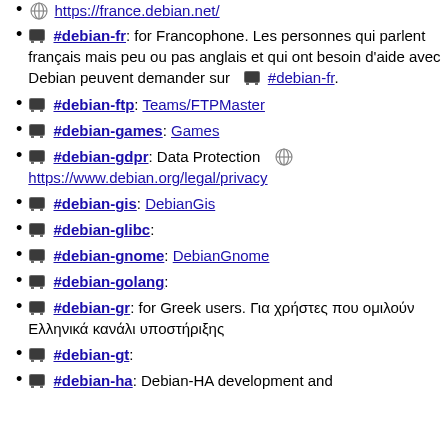https://france.debian.net/
#debian-fr: for Francophone. Les personnes qui parlent français mais peu ou pas anglais et qui ont besoin d'aide avec Debian peuvent demander sur #debian-fr.
#debian-ftp: Teams/FTPMaster
#debian-games: Games
#debian-gdpr: Data Protection https://www.debian.org/legal/privacy
#debian-gis: DebianGis
#debian-glibc:
#debian-gnome: DebianGnome
#debian-golang:
#debian-gr: for Greek users. Για χρήστες που ομιλούν Ελληνικά κανάλι υποστήριξης
#debian-gt:
#debian-ha: Debian-HA development and